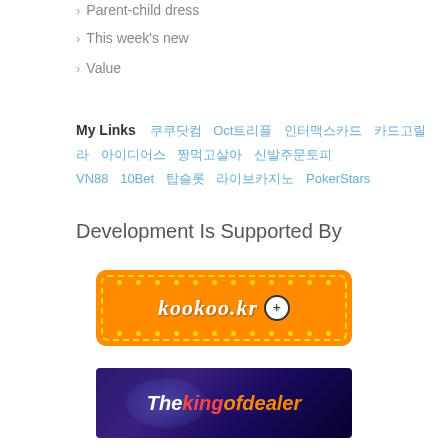Parent-child dress
This week's new
Value
My Links   쿠쿠닷컴   Oct트리플   인터맥스카드   카드고릴라   아이디어스   짱먹고살아   신발주문토피   VN88   10Bet   탑슬롯   라이브카지노   PokerStars
Development Is Supported By
[Figure (logo): kookoo.kr logo banner with orange background and yellow dotted border]
[Figure (logo): Thekingofdealer banner with dark purple background and colorful text]